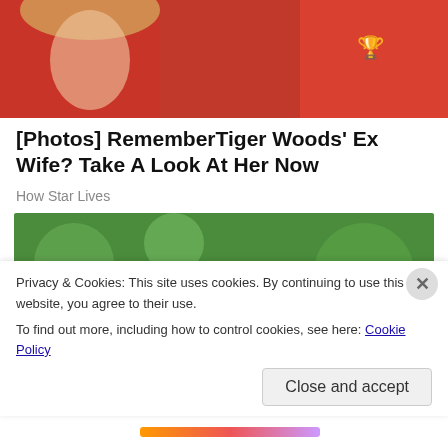[Figure (photo): Two people in red shirts, partially visible, one with blonde hair]
[Photos] RememberTiger Woods' Ex Wife? Take A Look At Her Now
How Star Lives
[Figure (photo): Fluffy golden-brown toy poodle sitting on green grass outdoors, tongue out, smiling]
Privacy & Cookies: This site uses cookies. By continuing to use this website, you agree to their use.
To find out more, including how to control cookies, see here: Cookie Policy
Close and accept